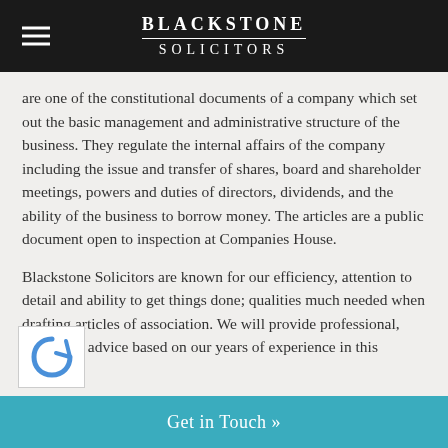BLACKSTONE SOLICITORS
are one of the constitutional documents of a company which set out the basic management and administrative structure of the business. They regulate the internal affairs of the company including the issue and transfer of shares, board and shareholder meetings, powers and duties of directors, dividends, and the ability of the business to borrow money. The articles are a public document open to inspection at Companies House.
Blackstone Solicitors are known for our efficiency, attention to detail and ability to get things done; qualities much needed when drafting articles of association. We will provide professional, pragmatic advice based on our years of experience in this specialist
Get in Touch »